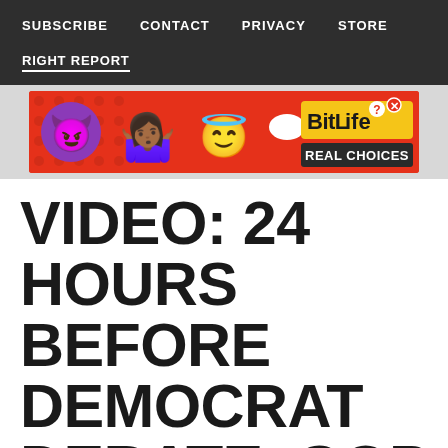SUBSCRIBE   CONTACT   PRIVACY   STORE
RIGHT REPORT
[Figure (other): BitLife Real Choices advertisement banner with emoji characters on red background]
VIDEO: 24 HOURS BEFORE DEMOCRAT DEBATE, GOP RELEASES NUCLEAR 30 SECOND AD